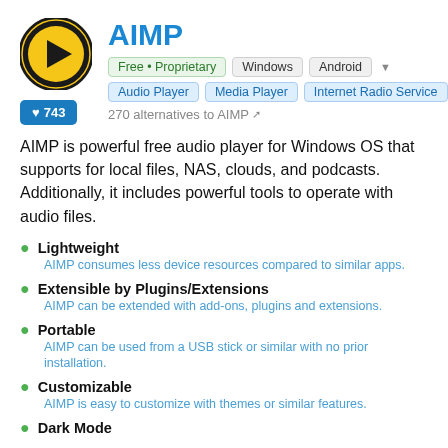[Figure (logo): AIMP app logo: black circle with yellow center, black triangle (play button) inside]
AIMP
Free • Proprietary  Windows  Android  Audio Player  Media Player  Internet Radio Service
♥ 743
270 alternatives to AIMP ↗
AIMP is powerful free audio player for Windows OS that supports for local files, NAS, clouds, and podcasts. Additionally, it includes powerful tools to operate with audio files.
Lightweight
AIMP consumes less device resources compared to similar apps.
Extensible by Plugins/Extensions
AIMP can be extended with add-ons, plugins and extensions.
Portable
AIMP can be used from a USB stick or similar with no prior installation.
Customizable
AIMP is easy to customize with themes or similar features.
Dark Mode